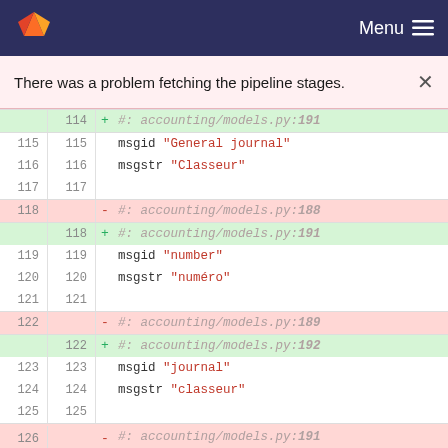[Figure (screenshot): GitLab navigation bar with logo and Menu button]
There was a problem fetching the pipeline stages.
Code diff view showing changes to accounting/models.py and core/models.py translation strings